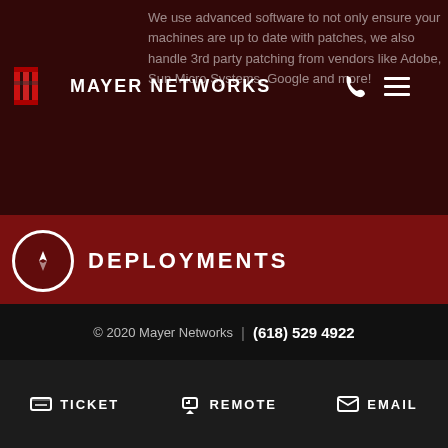[Figure (logo): Mayer Networks logo with stylized red M icon and white text MAYER NETWORKS]
We use advanced software to not only ensure your machines are up to date with patches, we also handle 3rd party patching from vendors like Adobe, Sun Micro Systems, Google and more!
DEPLOYMENTS
Getting new computers or servers? Mayer Networks offers deployments of new equipment at no additional charge to service level agreement customers.
SECURITY MONITORING
Extensive reporting gives you a bird's-eye view of your entire network security alerts on attempted
© 2020 Mayer Networks | (618) 529 4922
TICKET  REMOTE  EMAIL